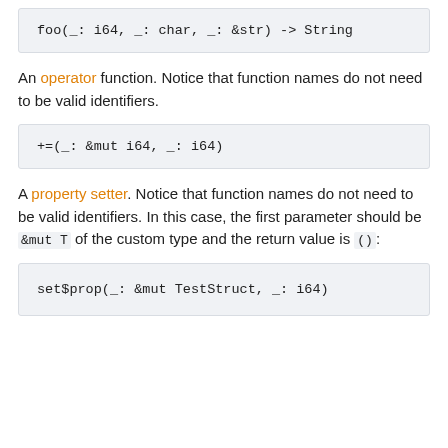[Figure (screenshot): Code block showing: foo(_: i64, _: char, _: &str) -> String]
An operator function. Notice that function names do not need to be valid identifiers.
[Figure (screenshot): Code block showing: +=(_: &mut i64, _: i64)]
A property setter. Notice that function names do not need to be valid identifiers. In this case, the first parameter should be &mut T of the custom type and the return value is ():
[Figure (screenshot): Code block showing: set$prop(_: &mut TestStruct, _: i64)]